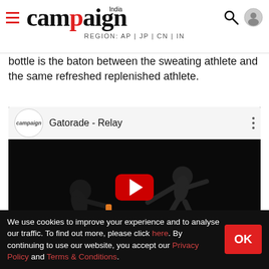campaign India — REGION: AP | JP | CN | IN
bottle is the baton between the sweating athlete and the same refreshed replenished athlete.
[Figure (screenshot): YouTube video embed for 'Gatorade - Relay' showing two athletes passing a Gatorade bottle on a dark background, with a red play button in the center.]
We use cookies to improve your experience and to analyse our traffic. To find out more, please click here. By continuing to use our website, you accept our Privacy Policy and Terms & Conditions.